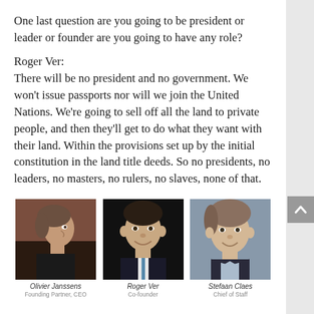One last question are you going to be president or leader or founder are you going to have any role?
Roger Ver:
There will be no president and no government. We won't issue passports nor will we join the United Nations. We're going to sell off all the land to private people, and then they'll get to do what they want with their land. Within the provisions set up by the initial constitution in the land title deeds. So no presidents, no leaders, no masters, no rulers, no slaves, none of that.
[Figure (photo): Three headshot photos side by side: Olivier Janssens (Founding Partner, CEO), Roger Ver (Co-founder), Stefaan Claes (Chief of Staff)]
Olivier Janssens
Founding Partner, CEO
Roger Ver
Co-founder
Stefaan Claes
Chief of Staff